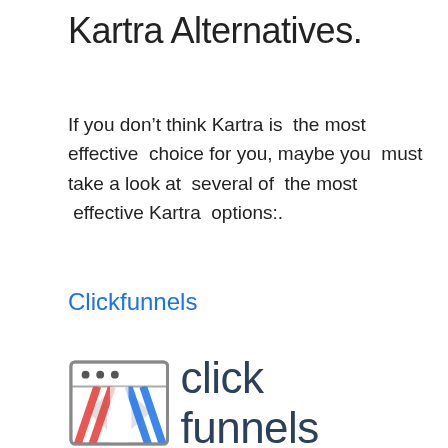Kartra Alternatives.
If you don’t think Kartra is the most effective choice for you, maybe you must take a look at several of the most effective Kartra options:.
Clickfunnels
[Figure (logo): ClickFunnels logo: a stylized icon showing two overlapping rectangular shapes with red and blue striped bands, followed by the text 'click funnels' in dark navy/slate color]